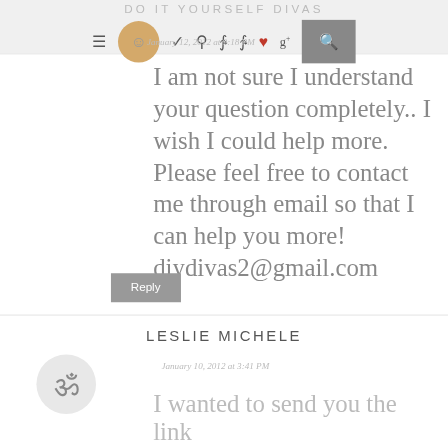DO IT YOURSELF DIVAS
January 12, 2012 at 9:18 PM
I am not sure I understand your question completely.. I wish I could help more. Please feel free to contact me through email so that I can help you more! diydivas2@gmail.com
Reply
LESLIE MICHELE
January 10, 2012 at 3:41 PM
I wanted to send you the link